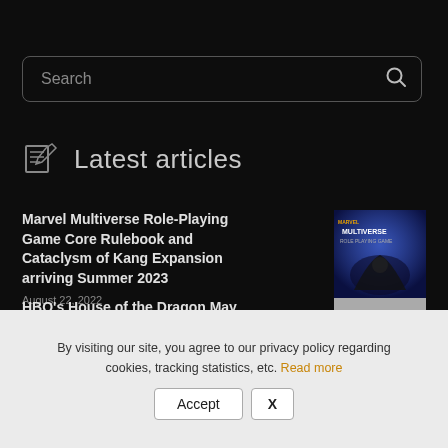Search
Latest articles
Marvel Multiverse Role-Playing Game Core Rulebook and Cataclysm of Kang Expansion arriving Summer 2023
August 22, 2022
[Figure (illustration): Marvel Multiverse Role-Playing Game book cover with superhero silhouettes]
HBO's House of the Dragon May Be Taking the Wrong Lessons from Game of Thrones
[Figure (photo): Photo related to House of the Dragon article]
By visiting our site, you agree to our privacy policy regarding cookies, tracking statistics, etc. Read more
Accept  X